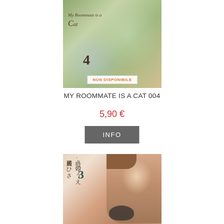[Figure (illustration): Manga book cover for 'My Roommate is a Cat' volume 4, showing two figures in green-toned art with circular light overlays. Badge reads 'NON DISPONIBILE' at bottom.]
MY ROOMMATE IS A CAT 004
5,90 €
INFO
[Figure (illustration): Manga book cover volume 3 with Japanese text characters and an anime character with brown hair holding a cat, warm peach/brown tones.]